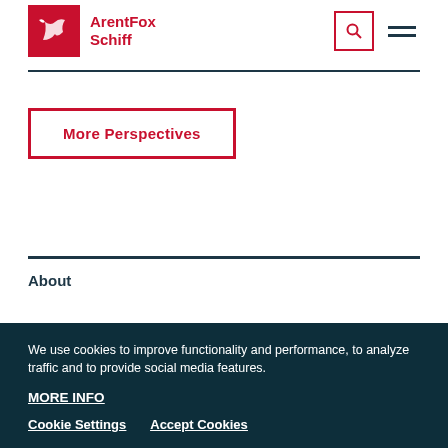[Figure (logo): ArentFox Schiff law firm logo with red square containing white fox icon and red text 'ArentFox Schiff']
More Perspectives
About
We use cookies to improve functionality and performance, to analyze traffic and to provide social media features.
MORE INFO
Cookie Settings
Accept Cookies